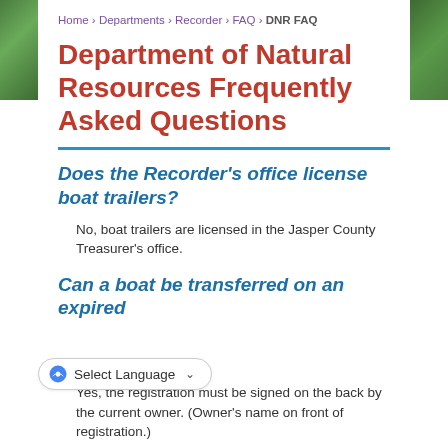Home › Departments › Recorder › FAQ › DNR FAQ
Department of Natural Resources Frequently Asked Questions
Does the Recorder's office license boat trailers?
No, boat trailers are licensed in the Jasper County Treasurer's office.
Can a boat be transferred on an expired
Yes, the registration must be signed on the back by the current owner. (Owner's name on front of registration.)